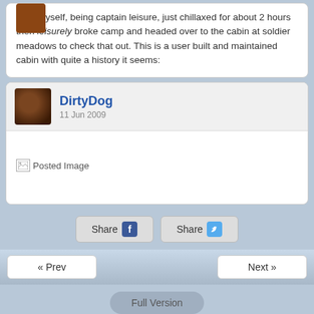Now myself, being captain leisure, just chillaxed for about 2 hours then leisurely broke camp and headed over to the cabin at soldier meadows to check that out. This is a user built and maintained cabin with quite a history it seems:
DirtyDog
11 Jun 2009
[Figure (photo): Posted Image placeholder with broken image icon]
Share (Facebook) | Share (Twitter)
« Prev | Next »
Full Version